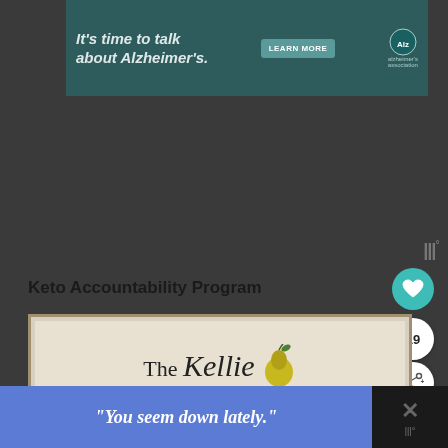[Figure (screenshot): Advertisement banner for Alzheimer's awareness with teal background, text 'It's time to talk about Alzheimer's.' with a LEARN MORE button and Alzheimer's Association logo]
Keto Accountability Program
[Figure (logo): The Kellie brand logo card with script lettering and pear icon on a beige/cream background]
[Figure (screenshot): Blue advertisement banner with italic text: "You seem down lately."]
[Figure (infographic): UI overlay elements: heart/favorite button (teal circle), share count badge showing 19, share button]